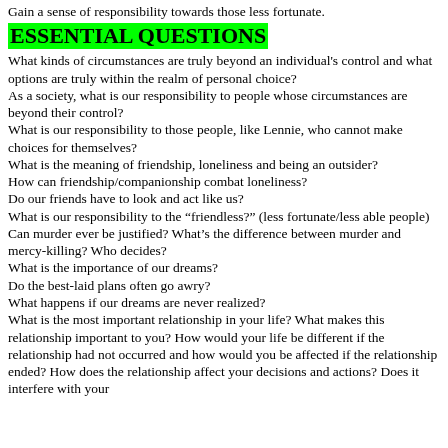Gain a sense of responsibility towards those less fortunate.
ESSENTIAL QUESTIONS
What kinds of circumstances are truly beyond an individual’s control and what options are truly within the realm of personal choice?
As a society, what is our responsibility to people whose circumstances are beyond their control?
What is our responsibility to those people, like Lennie, who cannot make choices for themselves?
What is the meaning of friendship, loneliness and being an outsider?
How can friendship/companionship combat loneliness?
Do our friends have to look and act like us?
What is our responsibility to the “friendless?” (less fortunate/less able people)
Can murder ever be justified? What’s the difference between murder and mercy-killing? Who decides?
What is the importance of our dreams?
Do the best-laid plans often go awry?
What happens if our dreams are never realized?
What is the most important relationship in your life? What makes this relationship important to you? How would your life be different if the relationship had not occurred and how would you be affected if the relationship ended? How does the relationship affect your decisions and actions? Does it interfere with your